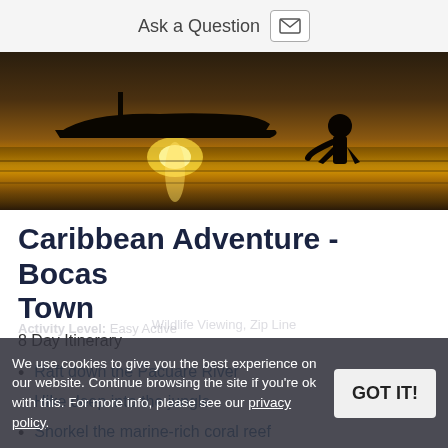Ask a Question
[Figure (photo): Silhouette of a person standing on a beach near a boat at sunset, with golden reflections on calm water.]
Caribbean Adventure - Bocas Town
8 Day Itinerary
Raft down the Pacuare River
Hike deep into the jungle
Snorkel the marine-rich coral reef
Tour Panama's vibrant capital city
We use cookies to give you the best experience on our website. Continue browsing the site if you're ok with this. For more info, please see our privacy policy.
Activity Level: Easy Active